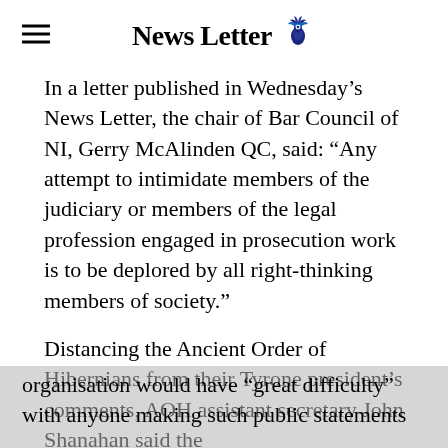News Letter
In a letter published in Wednesday's News Letter, the chair of Bar Council of NI, Gerry McAlinden QC, said: “Any attempt to intimidate members of the judiciary or members of the legal profession engaged in prosecution work is to be deplored by all right-thinking members of society.”
Distancing the Ancient Order of Hibernians from their Tyrone president’s comments, AOH assistant secretary John Shanahan said the organisation would have “great difficulty” with anyone making such public statements